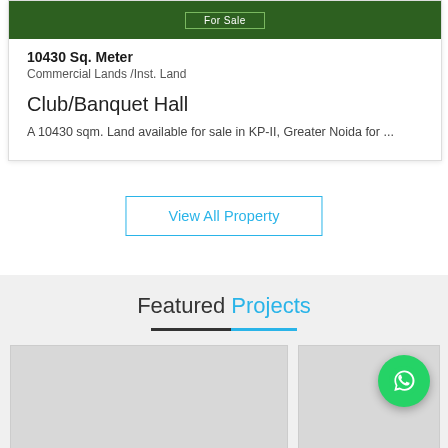[Figure (photo): Green land photo with For Sale badge overlay at top]
10430 Sq. Meter
Commercial Lands /Inst. Land
Club/Banquet Hall
A 10430 sqm. Land available for sale in KP-II, Greater Noida for ...
View All Property
Featured Projects
[Figure (photo): Featured project card image left]
[Figure (photo): Featured project card image right with WhatsApp button overlay]